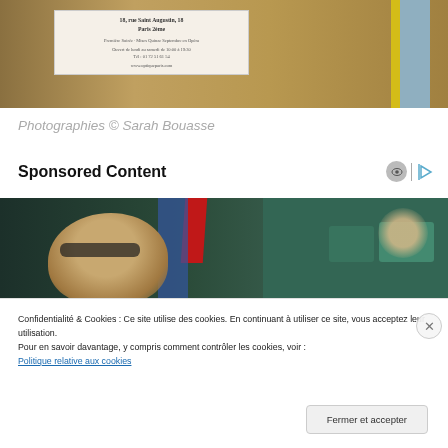[Figure (photo): Close-up photo of a Paris shop door/window with a blue door frame, yellow trim, and a small printed sign reading '18, rue Saint Augustin, 18 Paris 2ème' with additional French text about opening hours and website.]
Photographies © Sarah Bouasse
Sponsored Content
[Figure (photo): Photo of a man with sunglasses sitting in what appears to be green stadium or theater seats, with a red tie visible behind him and other people in the background.]
Confidentialité & Cookies : Ce site utilise des cookies. En continuant à utiliser ce site, vous acceptez leur utilisation.
Pour en savoir davantage, y compris comment contrôler les cookies, voir : Politique relative aux cookies
Fermer et accepter